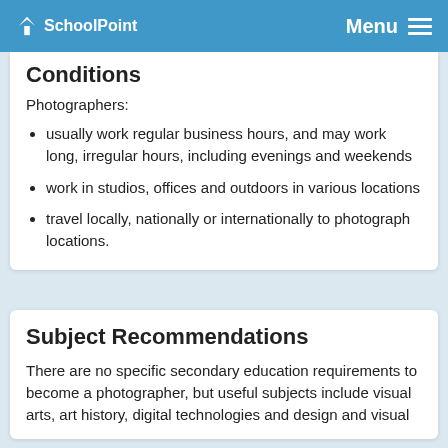SchoolPoint | Menu
Conditions
Photographers:
usually work regular business hours, and may work long, irregular hours, including evenings and weekends
work in studios, offices and outdoors in various locations
travel locally, nationally or internationally to photograph locations.
Subject Recommendations
There are no specific secondary education requirements to become a photographer, but useful subjects include visual arts, art history, digital technologies and design and visual